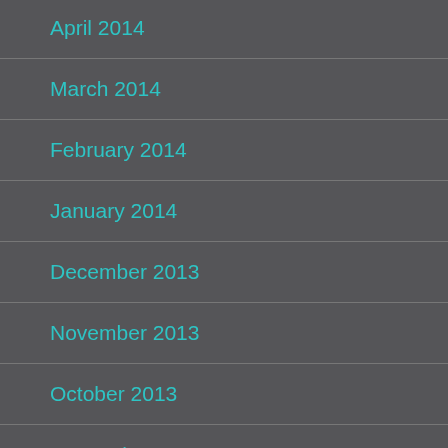April 2014
March 2014
February 2014
January 2014
December 2013
November 2013
October 2013
September 2013
August 2013